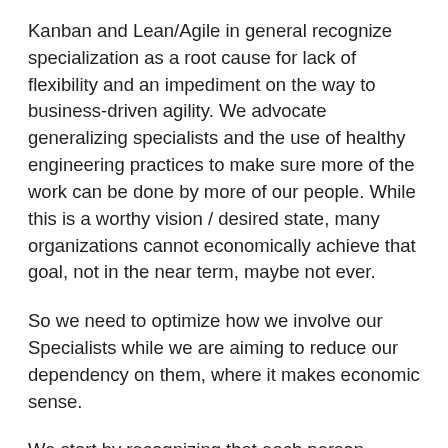Kanban and Lean/Agile in general recognize specialization as a root cause for lack of flexibility and an impediment on the way to business-driven agility. We advocate generalizing specialists and the use of healthy engineering practices to make sure more of the work can be done by more of our people. While this is a worthy vision / desired state, many organizations cannot economically achieve that goal, not in the near term, maybe not ever.
So we need to optimize how we involve our Specialists while we are aiming to reduce our dependency on them, where it makes economic sense.
We start by recognizing that each person, including Specialists has a certain capacity for spreading his attention as well as for actual delivery. Once we overburden this capacity we are abusing our scarcest resource. When we limit the work in the workflow we align the workload with the capacity in the line. But specialists that hover above the work